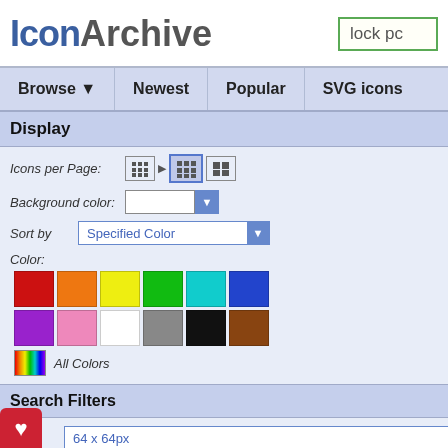[Figure (screenshot): IconArchive website logo with search box containing 'lock pc']
IconArchive  |  lock pc [search box]
Browse ▼   Newest   Popular   SVG icons
Display
Icons per Page:
Background color:
Sort by  Specified Color
Color:
All Colors
Search Filters
Size: 64 x 64px
Category: Mobile
e: Hand-Drawn
Results 1-0 of 0 for search term '...
Your search for »lock pc« did n...
If you agree to remove the fi...
Results 1-0 of 0 for search term '...